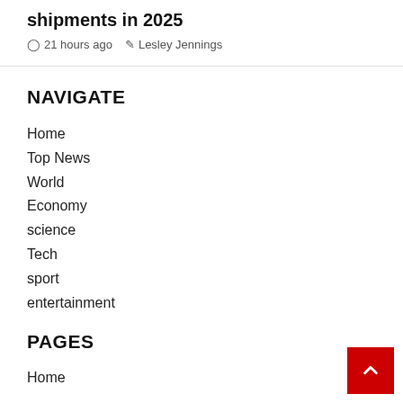shipments in 2025
21 hours ago   Lesley Jennings
NAVIGATE
Home
Top News
World
Economy
science
Tech
sport
entertainment
PAGES
Home